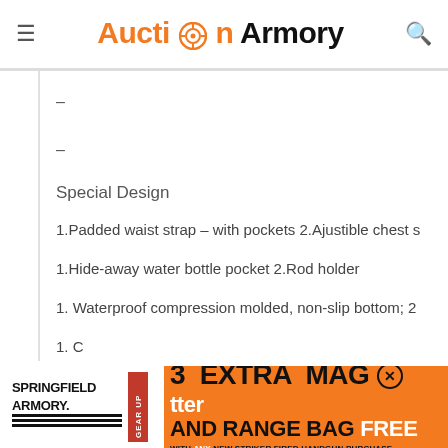Auction Armory
–
–
Special Design
1.Padded waist strap – with pockets 2.Ajustible chest s
1.Hide-away water bottle pocket 2.Rod holder
1. Waterproof compression molded, non-slip bottom; 2
1. C...tter
[Figure (screenshot): Springfield Armory Gear Up advertisement banner: 3 Extra Mags and Range Bag Free with any new striker fired handgun purchase]